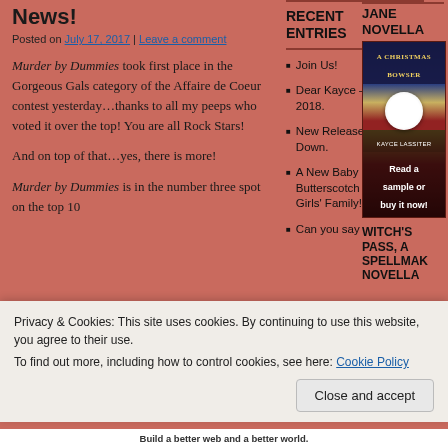News!
Posted on July 17, 2017 | Leave a comment
Murder by Dummies took first place in the Gorgeous Gals category of the Affaire de Coeur contest yesterday…thanks to all my peeps who voted it over the top!  You are all Rock Stars!
And on top of that…yes, there is more!
Murder by Dummies is in the number three spot on the top 10
RECENT ENTRIES
Join Us!
Dear Kayce – May 20, 2018.
New Release – Burnin' It Down.
A New Baby In The Butterscotch Martini Girls' Family!
Can you say
JANE NOVELLA
[Figure (illustration): Book cover for 'A Christmas Bowser' by Kayce Lassiter with overlay text 'Read a sample or buy it now!']
WITCH'S PASS, A SPELLMAK NOVELLA
Privacy & Cookies: This site uses cookies. By continuing to use this website, you agree to their use.
To find out more, including how to control cookies, see here: Cookie Policy
Close and accept
Build a better web and a better world.